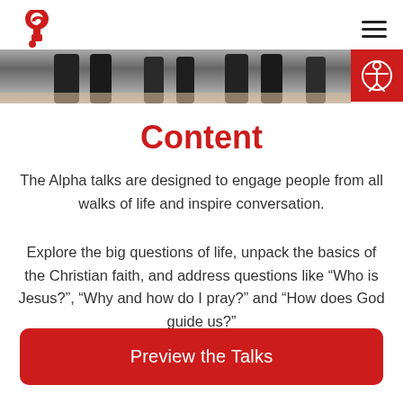Alpha logo and navigation menu
[Figure (photo): Cropped photo strip showing people's lower bodies/legs in a social setting]
Content
The Alpha talks are designed to engage people from all walks of life and inspire conversation.
Explore the big questions of life, unpack the basics of the Christian faith, and address questions like “Who is Jesus?”, “Why and how do I pray?” and “How does God guide us?”
Preview the Talks